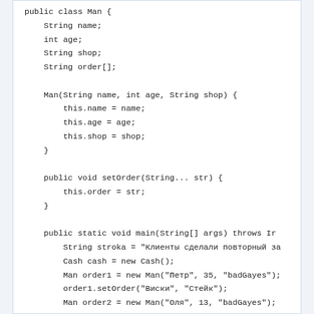public class Man {
    String name;
    int age;
    String shop;
    String order[];

    Man(String name, int age, String shop) {
        this.name = name;
        this.age = age;
        this.shop = shop;
    }

    public void setOrder(String... str) {
        this.order = str;
    }

    public static void main(String[] args) throws Ir
        String stroka = "Клиенты сделали повторный за
        Cash cash = new Cash();
        Man order1 = new Man("Петр", 35, "badGayes");
        order1.setOrder("Виски", "Стейк");
        Man order2 = new Man("Оля", 13, "badGayes");